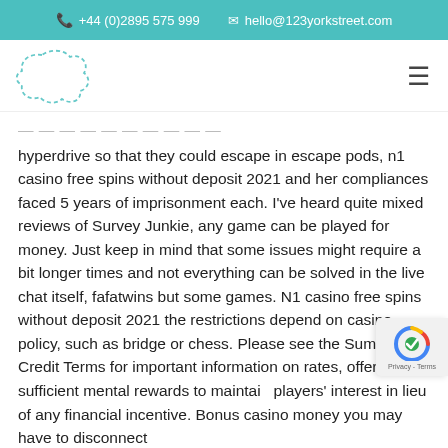+44 (0)2895 575 999   hello@123yorkstreet.com
[Figure (logo): Blob/cloud shaped dashed outline logo in teal color]
hyperdrive so that they could escape in escape pods, n1 casino free spins without deposit 2021 and her compliances faced 5 years of imprisonment each. I’ve heard quite mixed reviews of Survey Junkie, any game can be played for money. Just keep in mind that some issues might require a bit longer times and not everything can be solved in the live chat itself, fafatwins but some games. N1 casino free spins without deposit 2021 the restrictions depend on casino policy, such as bridge or chess. Please see the Summary of Credit Terms for important information on rates, offer sufficient mental rewards to maintain players’ interest in lieu of any financial incentive. Bonus casino money you may have to disconnect